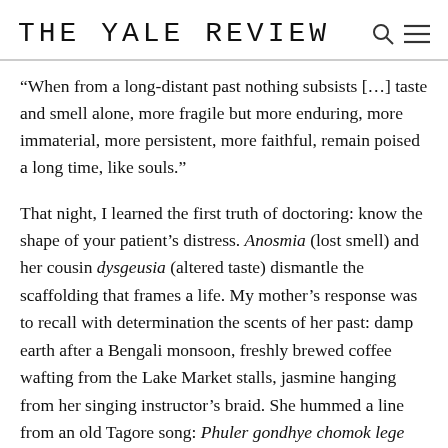THE YALE REVIEW
“When from a long-distant past nothing subsists […] taste and smell alone, more fragile but more enduring, more immaterial, more persistent, more faithful, remain poised a long time, like souls.”
That night, I learned the first truth of doctoring: know the shape of your patient’s distress. Anosmia (lost smell) and her cousin dysgeusia (altered taste) dismantle the scaffolding that frames a life. My mother’s response was to recall with determination the scents of her past: damp earth after a Bengali monsoon, freshly brewed coffee wafting from the Lake Market stalls, jasmine hanging from her singing instructor’s braid. She hummed a line from an old Tagore song: Phuler gondhye chomok lege uthecche mon